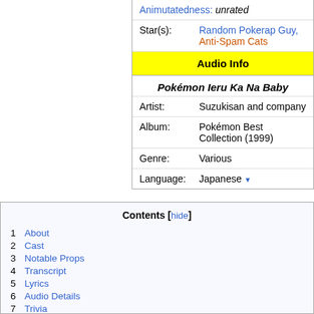| Animutatedness: | unrated |
| Star(s): | Random Pokerap Guy, Anti-Spam Cats |
| Audio Info |  |
| Pokémon Ieru Ka Na Baby |  |
| Artist: | Suzukisan and company |
| Album: | Pokémon Best Collection (1999) |
| Genre: | Various |
| Language: | Japanese |
Contents [hide]
1 About
2 Cast
3 Notable Props
4 Transcript
5 Lyrics
6 Audio Details
7 Trivia
8 External Links